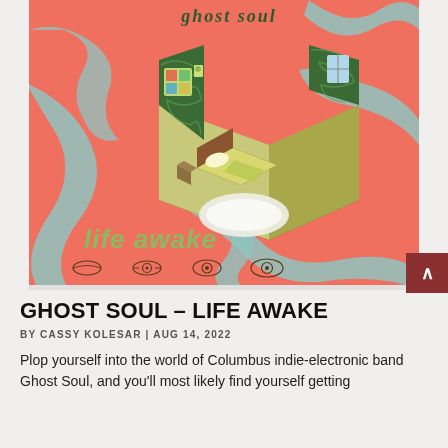[Figure (illustration): Album cover art for Ghost Soul - Life Awake. Coral/salmon pink background with teal flowing ribbon shapes. Center shows an isometric illustration of a bedroom with green marbled walls, a wooden bed with yellow/green bedding, a rug, and a nightstand. Text 'ghost soul' in dark green at top and 'life awake' in light green at lower left. Four decorative eye/lips icons at the bottom.]
GHOST SOUL – LIFE AWAKE
BY CASSY KOLESAR | AUG 14, 2022
Plop yourself into the world of Columbus indie-electronic band Ghost Soul, and you'll most likely find yourself getting